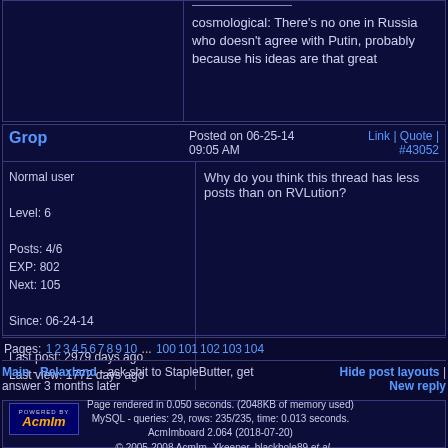cosmological: There's no one in Russia who doesn't agree with Putin, probably because his ideas are that great
Grop
Normal user
Level: 6
Posts: 4/6
EXP: 802
Next: 105
Since: 06-24-14
Last post: 2979 days ago
Last view: 1772 days ago
Posted on 06-25-14 09:05 AM   Link | Quote | #43052
Why do you think this thread has less posts than on RVLution?
Pages: 1 2 3 4 5 6 7 8 9 10 ... 100 101 102 103 104
Main - Relaxland - ask shit to StapleButter, get answer 3 months later
Hide post layouts | New reply
Page rendered in 0.050 seconds. (2048KB of memory used) MySQL - queries: 29, rows: 235/235, time: 0.013 seconds. AcmImboard 2.064 (2018-07-20) © 2005-2008 AcmIm, Xkeeper, blackhole89 et al.